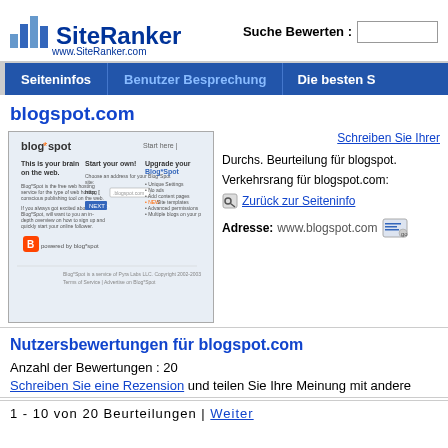[Figure (logo): SiteRanker logo with blue bar chart icon and text 'SiteRanker' and 'www.SiteRanker.com']
Suche Bewerten :
Seiteninfos | Benutzer Besprechung | Die besten S
blogspot.com
[Figure (screenshot): Screenshot of blogspot.com website showing blog creation page]
Schreiben Sie Ihren
Durchs. Beurteilung für blogspot.
Verkehrsrang für blogspot.com:
Zurück zur Seiteninfo
Adresse: www.blogspot.com
Nutzersbewertungen für blogspot.com
Anzahl der Bewertungen : 20
Schreiben Sie eine Rezension und teilen Sie Ihre Meinung mit andere
1 - 10 von 20 Beurteilungen | Weiter